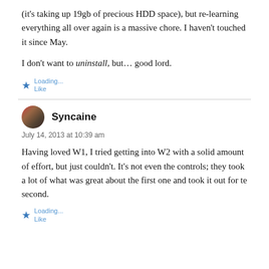(it's taking up 19gb of precious HDD space), but re-learning everything all over again is a massive chore. I haven't touched it since May.
I don't want to uninstall, but… good lord.
Loading... Like
Syncaine
July 14, 2013 at 10:39 am
Having loved W1, I tried getting into W2 with a solid amount of effort, but just couldn't. It's not even the controls; they took a lot of what was great about the first one and took it out for te second.
Loading... Like